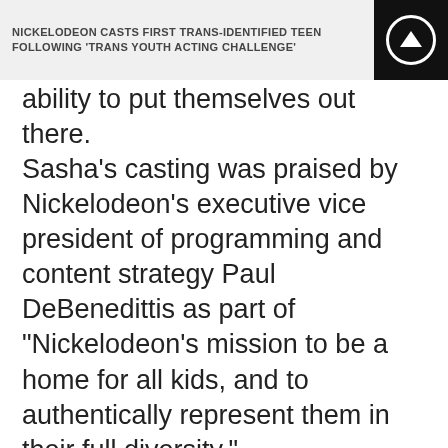NICKELODEON CASTS FIRST TRANS-IDENTIFIED TEEN FOLLOWING 'TRANS YOUTH ACTING CHALLENGE'
ability to put themselves out there.
Sasha's casting was praised by Nickelodeon's executive vice president of programming and content strategy Paul DeBenedittis as part of "Nickelodeon's mission to be a home for all kids, and to authentically represent them in their full diversity."